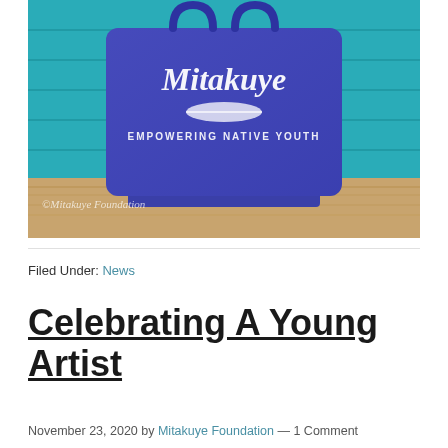[Figure (photo): A navy blue tote bag with the text 'Mitakuye' in white script lettering and a white feather illustration, with 'EMPOWERING NATIVE YOUTH' printed below in white sans-serif capital letters. The bag is sitting on a wooden surface against a teal/turquoise painted wood plank background. A watermark reads '© Mitakuye Foundation' in the lower left corner of the photo.]
Filed Under: News
Celebrating A Young Artist
November 23, 2020 by Mitakuye Foundation — 1 Comment